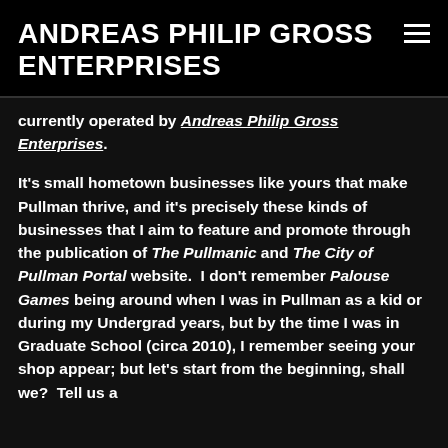ANDREAS PHILIP GROSS ENTERPRISES
currently operated by Andreas Philip Gross Enterprises.
It's small hometown businesses like yours that make Pullman thrive, and it's precisely these kinds of businesses that I aim to feature and promote through the publication of The Pullmanic and The City of Pullman Portal website.  I don't remember Palouse Games being around when I was in Pullman as a kid or during my Undergrad years, but by the time I was in Graduate School (circa 2010), I remember seeing your shop appear; but let's start from the beginning, shall we?  Tell us a